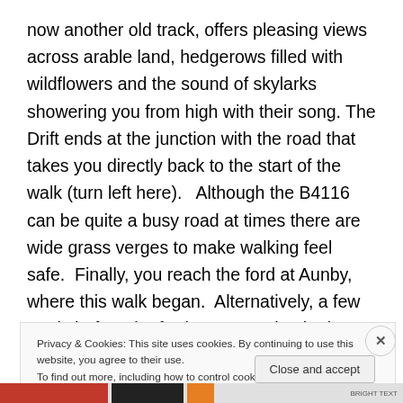now another old track, offers pleasing views across arable land, hedgerows filled with wildflowers and the sound of skylarks showering you from high with their song. The Drift ends at the junction with the road that takes you directly back to the start of the walk (turn left here).   Although the B4116 can be quite a busy road at times there are wide grass verges to make walking feel safe.  Finally, you reach the ford at Aunby, where this walk began.  Alternatively, a few yards before the ford you can take the lane that leads to Clematis Cottage, where I stayed for the duration of this oh-so-welcome-after-lockdown-short-break.
Privacy & Cookies: This site uses cookies. By continuing to use this website, you agree to their use.
To find out more, including how to control cookies, see here: Cookie Policy
Close and accept